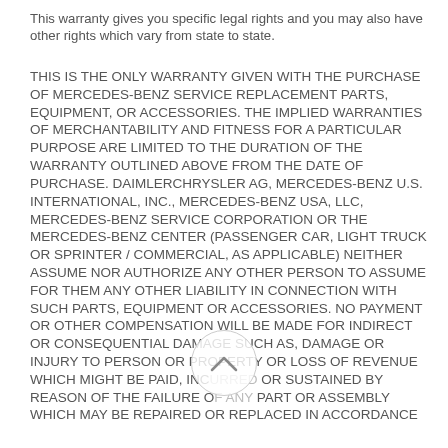This warranty gives you specific legal rights and you may also have other rights which vary from state to state.
THIS IS THE ONLY WARRANTY GIVEN WITH THE PURCHASE OF MERCEDES-BENZ SERVICE REPLACEMENT PARTS, EQUIPMENT, OR ACCESSORIES. THE IMPLIED WARRANTIES OF MERCHANTABILITY AND FITNESS FOR A PARTICULAR PURPOSE ARE LIMITED TO THE DURATION OF THE WARRANTY OUTLINED ABOVE FROM THE DATE OF PURCHASE. DAIMLERCHRYSLER AG, MERCEDES-BENZ U.S. INTERNATIONAL, INC., MERCEDES-BENZ USA, LLC, MERCEDES-BENZ SERVICE CORPORATION OR THE MERCEDES-BENZ CENTER (PASSENGER CAR, LIGHT TRUCK OR SPRINTER / COMMERCIAL, AS APPLICABLE) NEITHER ASSUME NOR AUTHORIZE ANY OTHER PERSON TO ASSUME FOR THEM ANY OTHER LIABILITY IN CONNECTION WITH SUCH PARTS, EQUIPMENT OR ACCESSORIES. NO PAYMENT OR OTHER COMPENSATION WILL BE MADE FOR INDIRECT OR CONSEQUENTIAL DAMAGE SUCH AS, DAMAGE OR INJURY TO PERSON OR PROPERTY OR LOSS OF REVENUE WHICH MIGHT BE PAID, INCURRED OR SUSTAINED BY REASON OF THE FAILURE OF ANY PART OR ASSEMBLY WHICH MAY BE REPAIRED OR REPLACED IN ACCORDANCE